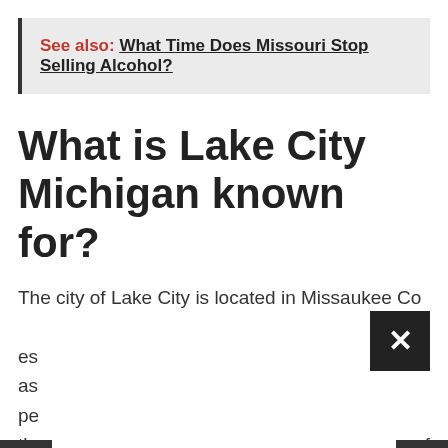See also:  What Time Does Missouri Stop Selling Alcohol?
What is Lake City Michigan known for?
The city of Lake City is located in Missaukee County and it serves as the county seat per the 2010 Census. The city of Lake City and Missaukee County are known for the Chain of Lakes area and the lakes around it are referred to as "...